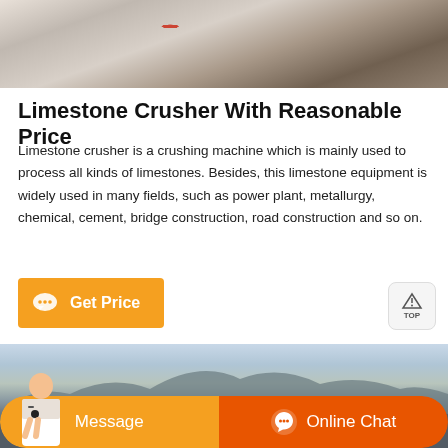[Figure (photo): Close-up photo of limestone crusher machinery parts, showing metal surfaces with a red element visible]
Limestone Crusher With Reasonable Price
Limestone crusher is a crushing machine which is mainly used to process all kinds of limestones. Besides, this limestone equipment is widely used in many fields, such as power plant, metallurgy, chemical, cement, bridge construction, road construction and so on.
[Figure (photo): Outdoor photo showing a limestone quarry or mining site with mountains in the background and industrial equipment visible]